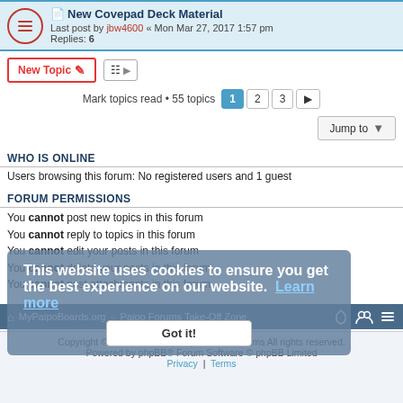New Covepad Deck Material — Last post by jbw4600 « Mon Mar 27, 2017 1:57 pm — Replies: 6
New Topic | Sort | Mark topics read • 55 topics | 1 2 3 >
Jump to
WHO IS ONLINE
Users browsing this forum: No registered users and 1 guest
FORUM PERMISSIONS
You cannot post new topics in this forum
You cannot reply to topics in this forum
You cannot edit your posts in this forum
You cannot delete your posts in this forum
You cannot post attachments in this forum
This website uses cookies to ensure you get the best experience on our website. Learn more
Got it!
MyPaipoBoards.org « Paipo Forums Take-Off Zone
Copyright © 2011 - 2022 MyPaipoBoards Forums All rights reserved. Powered by phpBB® Forum Software © phpBB Limited Privacy | Terms